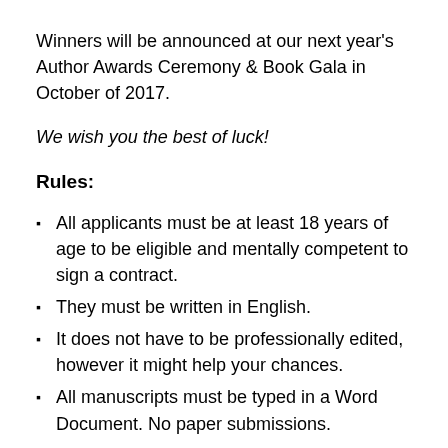Winners will be announced at our next year's Author Awards Ceremony & Book Gala in October of 2017.
We wish you the best of luck!
Rules:
All applicants must be at least 18 years of age to be eligible and mentally competent to sign a contract.
They must be written in English.
It does not have to be professionally edited, however it might help your chances.
All manuscripts must be typed in a Word Document. No paper submissions.
Applicants cannot be currently employed by Richter Publishing LLC or worked for them in the past 3 years.
Manuscripts must be between 20,000 and 100,000